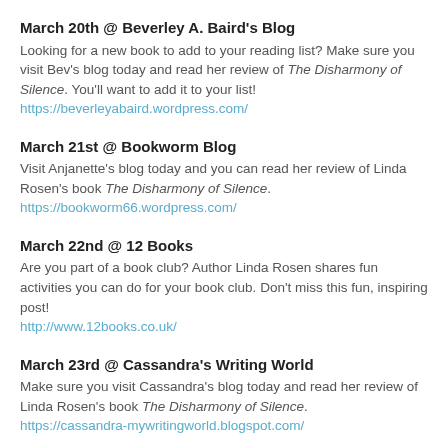March 20th @ Beverley A. Baird's Blog
Looking for a new book to add to your reading list? Make sure you visit Bev's blog today and read her review of The Disharmony of Silence. You'll want to add it to your list!
https://beverleyabaird.wordpress.com/
March 21st @ Bookworm Blog
Visit Anjanette's blog today and you can read her review of Linda Rosen's book The Disharmony of Silence.
https://bookworm66.wordpress.com/
March 22nd @ 12 Books
Are you part of a book club? Author Linda Rosen shares fun activities you can do for your book club. Don't miss this fun, inspiring post!
http://www.12books.co.uk/
March 23rd @ Cassandra's Writing World
Make sure you visit Cassandra's blog today and read her review of Linda Rosen's book The Disharmony of Silence.
https://cassandra-mywritingworld.blogspot.com/